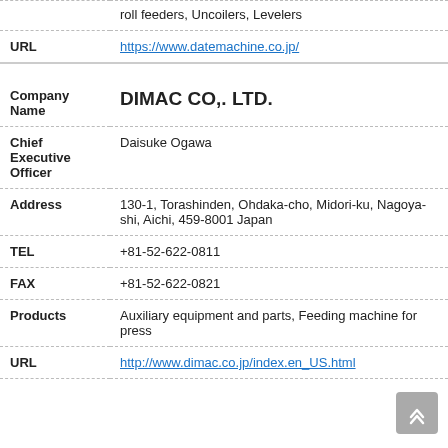| Field | Value |
| --- | --- |
| URL | https://www.datemachine.co.jp/ |
| Company Name | DIMAC CO,. LTD. |
| Chief Executive Officer | Daisuke Ogawa |
| Address | 130-1, Torashinden, Ohdaka-cho, Midori-ku, Nagoya-shi, Aichi, 459-8001 Japan |
| TEL | +81-52-622-0811 |
| FAX | +81-52-622-0821 |
| Products | Auxiliary equipment and parts, Feeding machine for press |
| URL | http://www.dimac.co.jp/index.en_US.html |